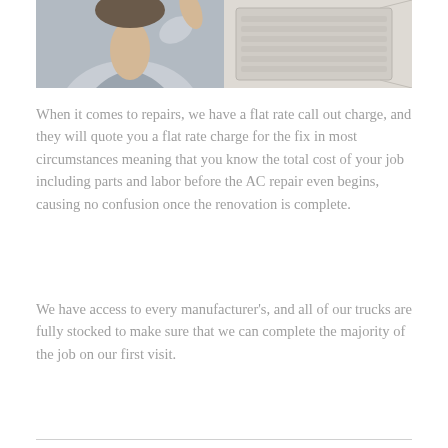[Figure (photo): Photo of a person in a light gray shirt with an AC unit vent in the background]
When it comes to repairs, we have a flat rate call out charge, and they will quote you a flat rate charge for the fix in most circumstances meaning that you know the total cost of your job including parts and labor before the AC repair even begins, causing no confusion once the renovation is complete.
We have access to every manufacturer's, and all of our trucks are fully stocked to make sure that we can complete the majority of the job on our first visit.